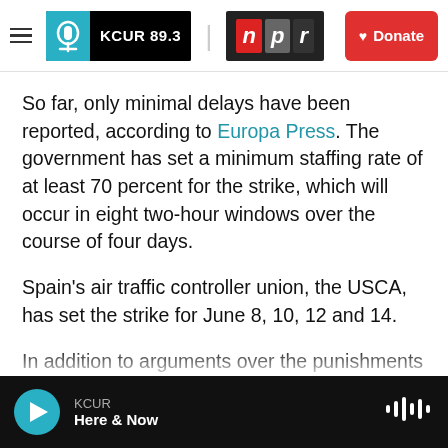KCUR 89.3 | npr | Donate
So far, only minimal delays have been reported, according to Europa Press. The government has set a minimum staffing rate of at least 70 percent for the strike, which will occur in eight two-hour windows over the course of four days.
Spain's air traffic controller union, the USCA, has set the strike for June 8, 10, 12 and 14.
In addition to arguments over the punishments for workers over the 2010 strike, the union and Enaire have recently been in a dispute over attempts to boost the number of work hours and cut the pay of
KCUR | Here & Now